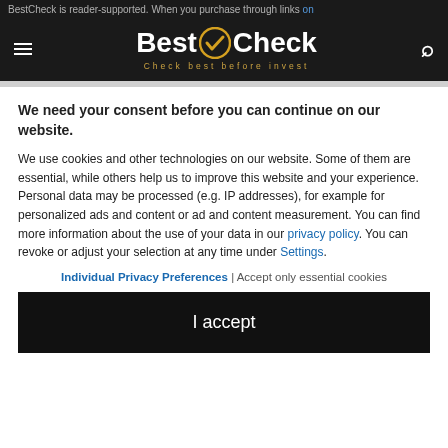BestCheck is reader-supported. When you purchase through links on
[Figure (logo): BestCheck logo with golden checkmark icon and tagline 'Check best before invest' on dark background]
We need your consent before you can continue on our website.
We use cookies and other technologies on our website. Some of them are essential, while others help us to improve this website and your experience. Personal data may be processed (e.g. IP addresses), for example for personalized ads and content or ad and content measurement. You can find more information about the use of your data in our privacy policy. You can revoke or adjust your selection at any time under Settings.
Individual Privacy Preferences | Accept only essential cookies
I accept